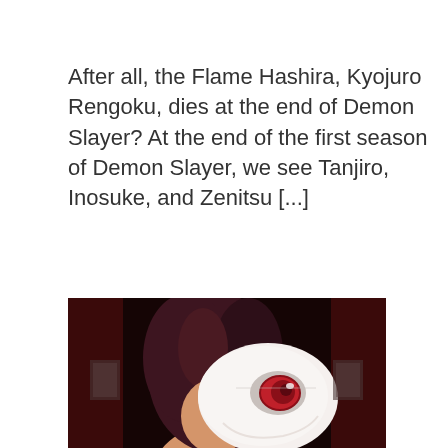After all, the Flame Hashira, Kyojuro Rengoku, dies at the end of Demon Slayer? At the end of the first season of Demon Slayer, we see Tanjiro, Inosuke, and Zenitsu [...]
[Figure (illustration): Anime screenshot from Demon Slayer showing a character wearing a white fox/demon mask with a red eye design, with dark maroon/black hair. Dark background with dark reddish panels visible. The image is a wide horizontal crop.]